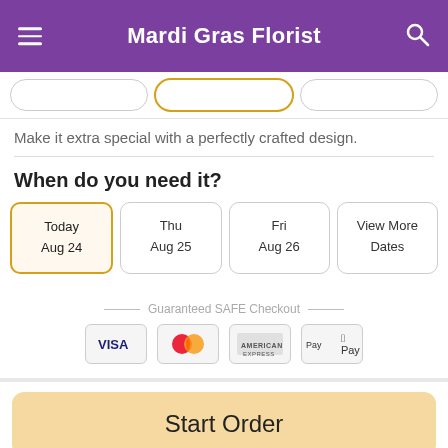Mardi Gras Florist
Make it extra special with a perfectly crafted design.
When do you need it?
Today Aug 24 (selected)
Thu Aug 25
Fri Aug 26
View More Dates
Guaranteed SAFE Checkout
[Figure (other): Payment icons: Visa, Mastercard, American Express, Apple Pay]
Start Order